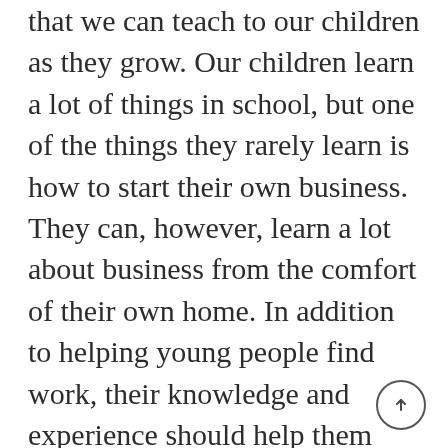that we can teach to our children as they grow. Our children learn a lot of things in school, but one of the things they rarely learn is how to start their own business. They can, however, learn a lot about business from the comfort of their own home. In addition to helping young people find work, their knowledge and experience should help them advance in their careers in the corporate world, learn how to start their own businesses, and engage in other endeavors.